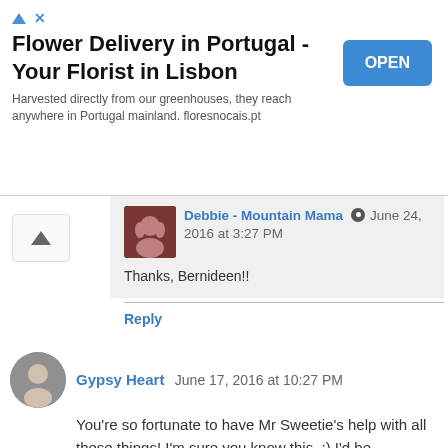[Figure (screenshot): Advertisement banner: Flower Delivery in Portugal - Your Florist in Lisbon. Harvested directly from our greenhouses, they reach anywhere in Portugal mainland. floresnocais.pt. With an OPEN button.]
Debbie - Mountain Mama June 24, 2016 at 3:27 PM
Thanks, Bernideen!!
Reply
Gypsy Heart June 17, 2016 at 10:27 PM
You're so fortunate to have Mr Sweetie's help with all these things! I'm sure you know this. :) I'd be concerned about his back too...hopefully, he will take care of himself. The photos are beautiful!

xo
Pat
Reply